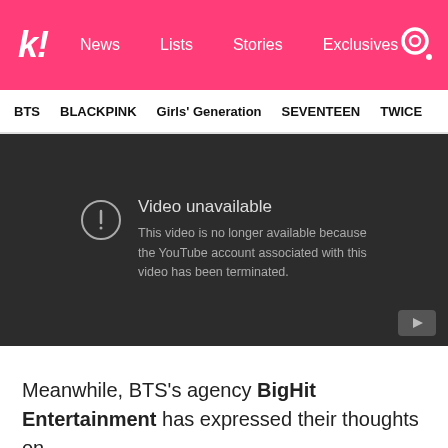k! News  Lists  Stories  Exclusives
BTS  BLACKPINK  Girls' Generation  SEVENTEEN  TWICE
[Figure (screenshot): Embedded YouTube video player showing 'Video unavailable' error message: 'This video is no longer available because the YouTube account associated with this video has been terminated.']
Meanwhile, BTS's agency BigHit Entertainment has expressed their thoughts on